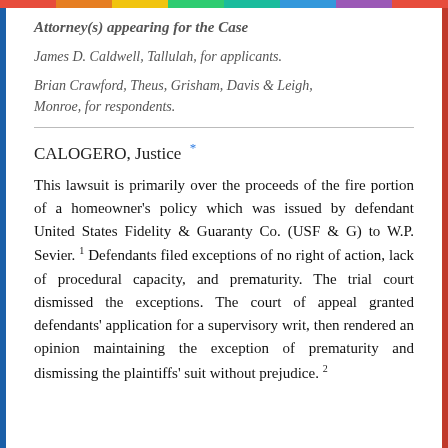Attorney(s) appearing for the Case
James D. Caldwell, Tallulah, for applicants.
Brian Crawford, Theus, Grisham, Davis & Leigh, Monroe, for respondents.
CALOGERO, Justice *
This lawsuit is primarily over the proceeds of the fire portion of a homeowner's policy which was issued by defendant United States Fidelity & Guaranty Co. (USF & G) to W.P. Sevier. 1 Defendants filed exceptions of no right of action, lack of procedural capacity, and prematurity. The trial court dismissed the exceptions. The court of appeal granted defendants' application for a supervisory writ, then rendered an opinion maintaining the exception of prematurity and dismissing the plaintiffs' suit without prejudice. 2